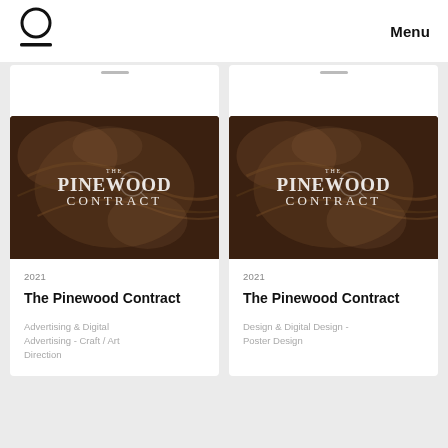Menu
[Figure (photo): Card image - The Pinewood Contract carved wood artwork with hand]
2021
The Pinewood Contract
Advertising & Digital Advertising - Craft / Art Direction
[Figure (photo): Card image - The Pinewood Contract carved wood artwork with hand (duplicate)]
2021
The Pinewood Contract
Design & Digital Design - Poster Design